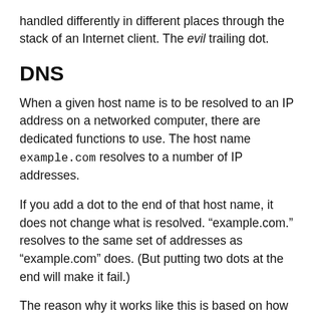handled differently in different places through the stack of an Internet client. The evil trailing dot.
DNS
When a given host name is to be resolved to an IP address on a networked computer, there are dedicated functions to use. The host name example.com resolves to a number of IP addresses.
If you add a dot to the end of that host name, it does not change what is resolved. “example.com.” resolves to the same set of addresses as “example.com” does. (But putting two dots at the end will make it fail.)
The reason why it works like this is based on how DNS is built up with different “labels” (that when written in text are separated with dots) and then having a trailing dot is just an empty final label, just as with no dot. So, in the DNS protocol